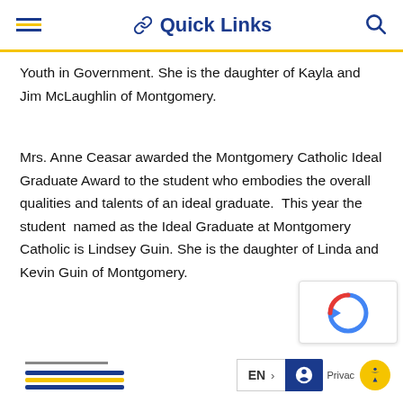Quick Links
Youth in Government. She is the daughter of Kayla and Jim McLaughlin of Montgomery.
Mrs. Anne Ceasar awarded the Montgomery Catholic Ideal Graduate Award to the student who embodies the overall qualities and talents of an ideal graduate.  This year the student  named as the Ideal Graduate at Montgomery Catholic is Lindsey Guin. She is the daughter of Linda and Kevin Guin of Montgomery.
EN